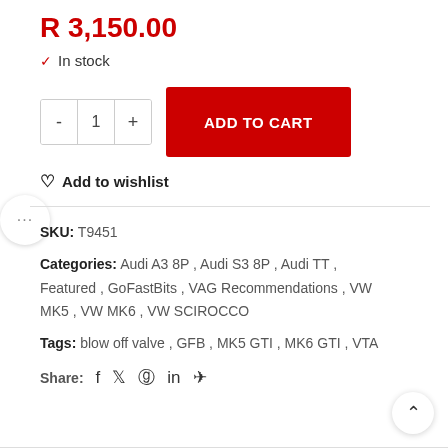R 3,150.00
✓ In stock
ADD TO CART (quantity: 1)
♡ Add to wishlist
SKU: T9451
Categories: Audi A3 8P , Audi S3 8P , Audi TT , Featured , GoFastBits , VAG Recommendations , VW MK5 , VW MK6 , VW SCIROCCO
Tags: blow off valve , GFB , MK5 GTI , MK6 GTI , VTA
Share: f 🐦 ⊕ in ✈